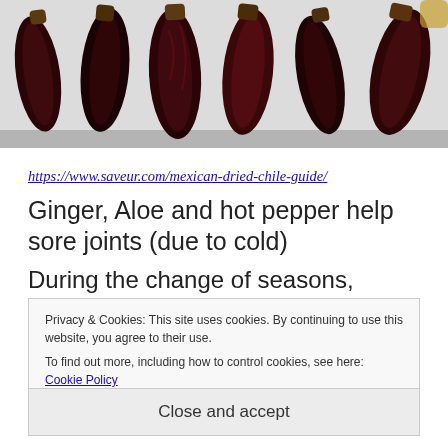[Figure (photo): Row of dried red/dark Mexican chili peppers on a light background, cropped close]
https://www.saveur.com/mexican-dried-chile-guide/
Ginger, Aloe and hot pepper help sore joints (due to cold)
During the change of seasons, frequent changes of weather are also current. Temperatures are unstable as sunny periods alternate with rain
Privacy & Cookies: This site uses cookies. By continuing to use this website, you agree to their use.
To find out more, including how to control cookies, see here: Cookie Policy
Close and accept